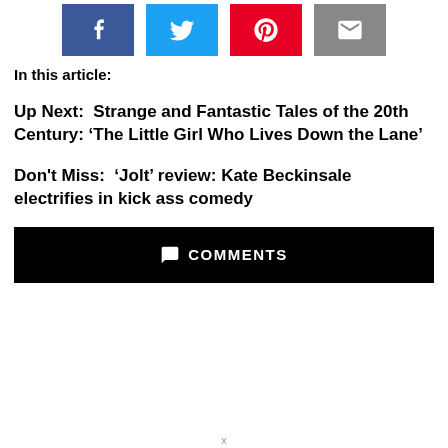[Figure (infographic): Social sharing buttons: Facebook (blue), Twitter (light blue), Pinterest (red), Email (gray)]
In this article:
Up Next: Strange and Fantastic Tales of the 20th Century: ‘The Little Girl Who Lives Down the Lane’
Don’t Miss: ‘Jolt’ review: Kate Beckinsale electrifies in kick ass comedy
COMMENTS
x